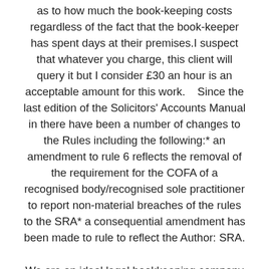as to how much the book-keeping costs regardless of the fact that the book-keeper has spent days at their premises.I suspect that whatever you charge, this client will query it but I consider £30 an hour is an acceptable amount for this work.   Since the last edition of the Solicitors' Accounts Manual in there have been a number of changes to the Rules including the following:* an amendment to rule 6 reflects the removal of the requirement for the COFA of a recognised body/recognised sole practitioner to report non-material breaches of the rules to the SRA* a consequential amendment has been made to rule to reflect the Author: SRA.
We are an ideal legal bookkeeping company for the law firm or sole practitioner solicitor who wants a straightforward solution to getting their books done. We are contactable, approachable and credible. You can read what other solicitors who've used our